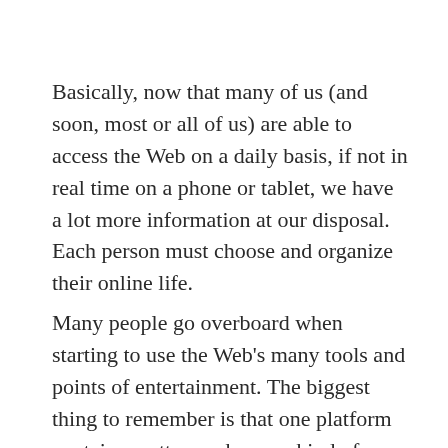Basically, now that many of us (and soon, most or all of us) are able to access the Web on a daily basis, if not in real time on a phone or tablet, we have a lot more information at our disposal. Each person must choose and organize their online life.
Many people go overboard when starting to use the Web's many tools and points of entertainment. The biggest thing to remember is that one platform contains pretty much every kind of content and always and with the